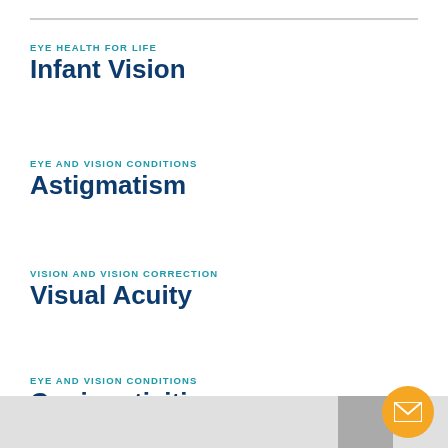EYE HEALTH FOR LIFE
Infant Vision
EYE AND VISION CONDITIONS
Astigmatism
VISION AND VISION CORRECTION
Visual Acuity
EYE AND VISION CONDITIONS
Conjunctivitis